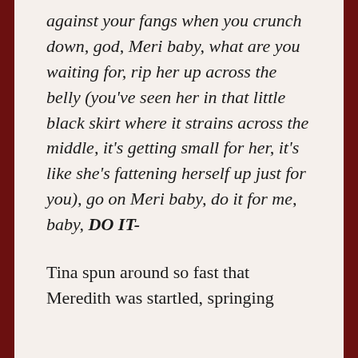against your fangs when you crunch down, god, Meri baby, what are you waiting for, rip her up across the belly (you've seen her in that little black skirt where it strains across the middle, it's getting small for her, it's like she's fattening herself up just for you), go on Meri baby, do it for me, baby, DO IT-
Tina spun around so fast that Meredith was startled, springing